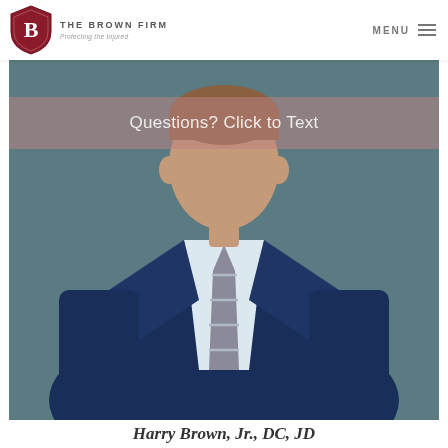THE BROWN FIRM — Protecting the Injured | MENU
Questions? Click to Text
[Figure (photo): Professional headshot of a man in a navy blue suit and grey striped tie, photographed against a dark teal background.]
Harry Brown, Jr., DC, JD